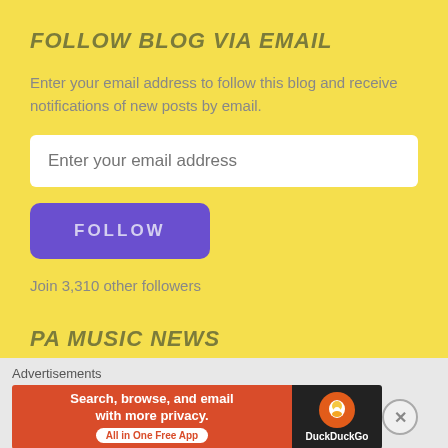FOLLOW BLOG VIA EMAIL
Enter your email address to follow this blog and receive notifications of new posts by email.
Enter your email address
FOLLOW
Join 3,310 other followers
PA MUSIC NEWS
[Figure (other): Image placeholder with broken image icon inside a white bordered box]
Advertisements
[Figure (other): DuckDuckGo advertisement banner: 'Search, browse, and email with more privacy. All in One Free App' on orange/red background with DuckDuckGo logo on dark background]